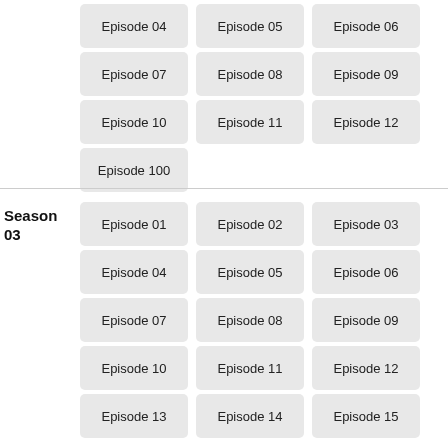Episode 04
Episode 05
Episode 06
Episode 07
Episode 08
Episode 09
Episode 10
Episode 11
Episode 12
Episode 100
Season 03
Episode 01
Episode 02
Episode 03
Episode 04
Episode 05
Episode 06
Episode 07
Episode 08
Episode 09
Episode 10
Episode 11
Episode 12
Episode 13
Episode 14
Episode 15